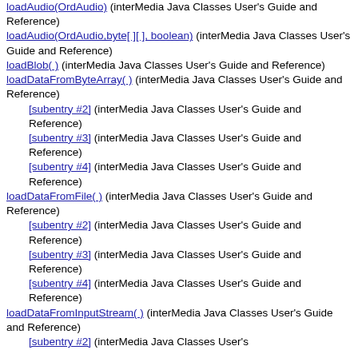loadAudio(OrdAudio) (interMedia Java Classes User's Guide and Reference)
loadAudio(OrdAudio,byte[ ][ ], boolean) (interMedia Java Classes User's Guide and Reference)
loadBlob( ) (interMedia Java Classes User's Guide and Reference)
loadDataFromByteArray( ) (interMedia Java Classes User's Guide and Reference)
[subentry #2] (interMedia Java Classes User's Guide and Reference)
[subentry #3] (interMedia Java Classes User's Guide and Reference)
[subentry #4] (interMedia Java Classes User's Guide and Reference)
loadDataFromFile( ) (interMedia Java Classes User's Guide and Reference)
[subentry #2] (interMedia Java Classes User's Guide and Reference)
[subentry #3] (interMedia Java Classes User's Guide and Reference)
[subentry #4] (interMedia Java Classes User's Guide and Reference)
loadDataFromInputStream( ) (interMedia Java Classes User's Guide and Reference)
[subentry #2] (interMedia Java Classes User's Guide and Reference)